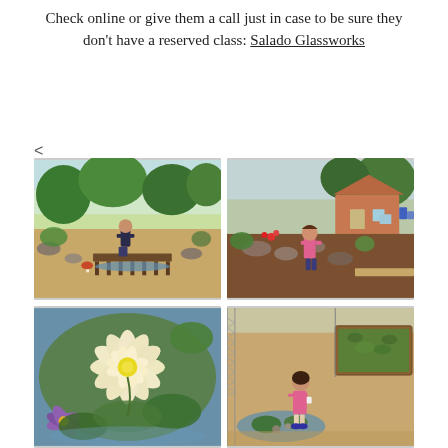Check online or give them a call just in case to be sure they don't have a reserved class: Salado Glassworks
[Figure (photo): Child walking across a wooden bridge in a lush garden with rocks, pond, and trees]
[Figure (photo): Girl in pink shirt walking through a garden with a small cottage building visible in background, rocks and flowers]
[Figure (photo): Close-up of white and yellow water lily flowers with green leaves]
[Figure (photo): Young girl in pink shirt looking at raised garden beds with plants, near a small pond]